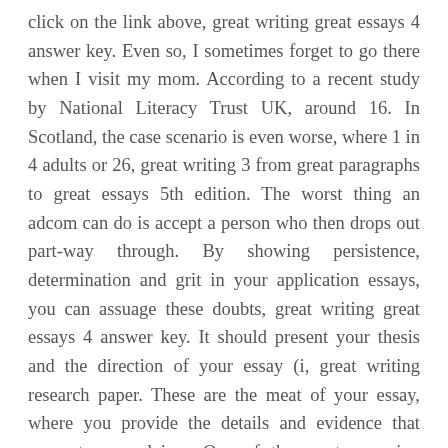click on the link above, great writing great essays 4 answer key. Even so, I sometimes forget to go there when I visit my mom. According to a recent study by National Literacy Trust UK, around 16. In Scotland, the case scenario is even worse, where 1 in 4 adults or 26, great writing 3 from great paragraphs to great essays 5th edition. The worst thing an adcom can do is accept a person who then drops out part-way through. By showing persistence, determination and grit in your application essays, you can assuage these doubts, great writing great essays 4 answer key. It should present your thesis and the direction of your essay (i, great writing research paper. These are the meat of your essay, where you provide the details and evidence that support your claims. One of the most annoying cases in writing is formatting the book titles. Whenever you mention the source in your paper, you face the question: how you must write a book